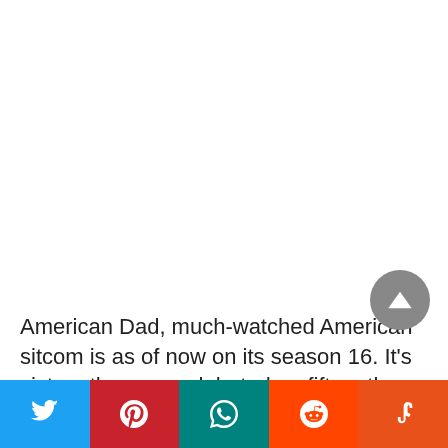American Dad, much-watched American sitcom is as of now on its season 16. It’s sixteenth season debuted on fifteenth April 2019 only on TBS. Season sixteenth of the said TV arrangement involves Total 22 scenes. The most recent scene that was discharged on first July 2019 under the
Social share bar: Twitter, Pinterest, WhatsApp, Reddit, StumbleUpon